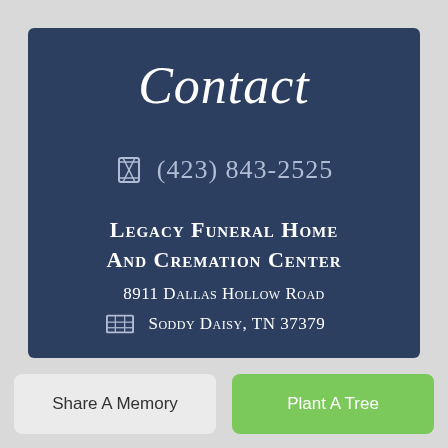Contact
(423) 843-2525
Legacy Funeral Home And Cremation Center
8911 Dallas Hollow Road
Soddy Daisy, TN 37379
Share A Memory
Plant A Tree